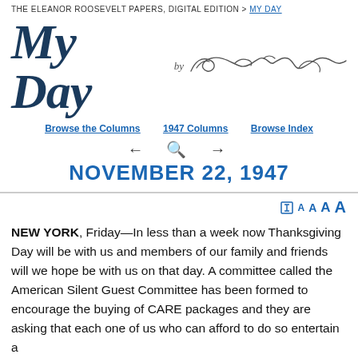The Eleanor Roosevelt Papers, Digital Edition > My Day
My Day by Eleanor Roosevelt
Browse the Columns | 1947 Columns | Browse Index
NOVEMBER 22, 1947
NEW YORK, Friday—In less than a week now Thanksgiving Day will be with us and members of our family and friends will we hope be with us on that day. A committee called the American Silent Guest Committee has been formed to encourage the buying of CARE packages and they are asking that each one of us who can afford to do so entertain a